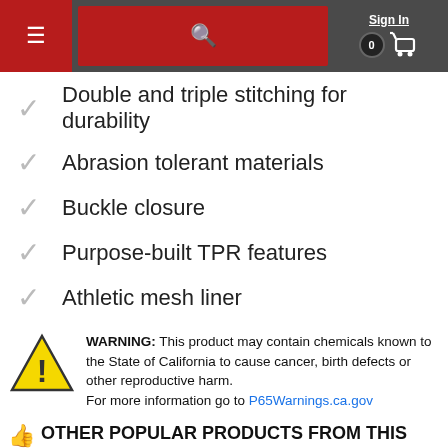Sign In | [menu] [search] [cart: 0]
Double and triple stitching for durability
Abrasion tolerant materials
Buckle closure
Purpose-built TPR features
Athletic mesh liner
WARNING: This product may contain chemicals known to the State of California to cause cancer, birth defects or other reproductive harm. For more information go to P65Warnings.ca.gov
OTHER POPULAR PRODUCTS FROM THIS CATEGORY...